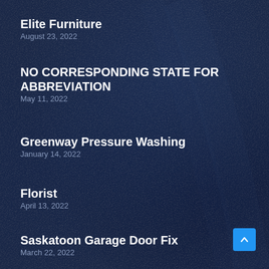Elite Furniture
August 23, 2022
NO CORRESPONDING STATE FOR ABBREVIATION
May 11, 2022
Greenway Pressure Washing
January 14, 2022
Florist
April 13, 2022
Saskatoon Garage Door Fix
March 22, 2022